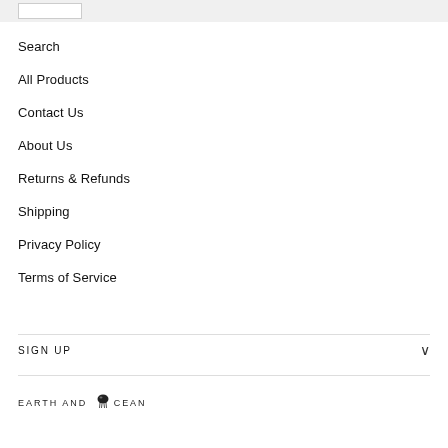Search
All Products
Contact Us
About Us
Returns & Refunds
Shipping
Privacy Policy
Terms of Service
SIGN UP
EARTH AND OCEAN